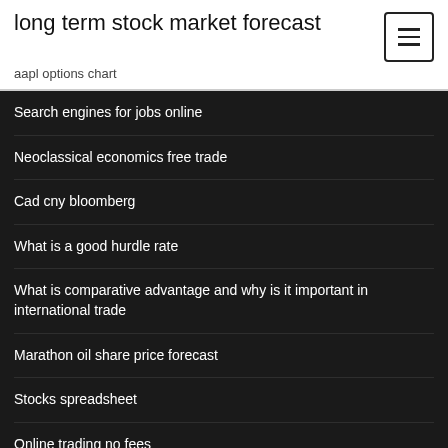long term stock market forecast
aapl options chart
Search engines for jobs online
Neoclassical economics free trade
Cad cny bloomberg
What is a good hurdle rate
What is comparative advantage and why is it important in international trade
Marathon oil share price forecast
Stocks spreadsheet
Online trading no fees
Online diet menu planner